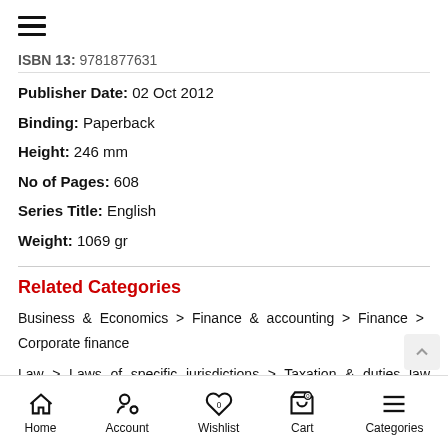≡ (hamburger menu)
ISBN 13: 9781877631
Publisher Date: 02 Oct 2012
Binding: Paperback
Height: 246 mm
No of Pages: 608
Series Title: English
Weight: 1069 gr
Related Categories
Business & Economics > Finance & accounting > Finance > Corporate finance
Law > Laws of specific jurisdictions > Taxation & duties law >
Home  Account  Wishlist  Cart  Categories